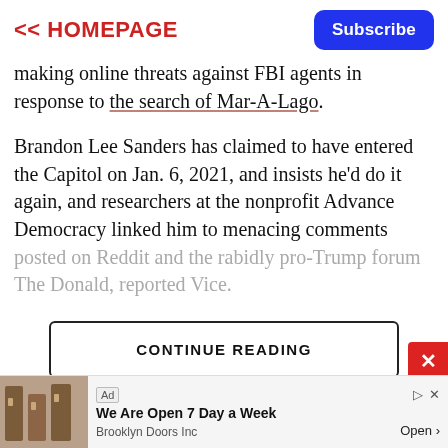<< HOMEPAGE | Subscribe
making online threats against FBI agents in response to the search of Mar-A-Lago.
Brandon Lee Sanders has claimed to have entered the Capitol on Jan. 6, 2021, and insists he'd do it again, and researchers at the nonprofit Advance Democracy linked him to menacing comments posted on Reddit and the rabidly pro-Trump forum The Donald, reported Vice.
CONTINUE READING
[Figure (screenshot): Ad banner: We Are Open 7 Day a Week - Brooklyn Doors Inc, Open button]